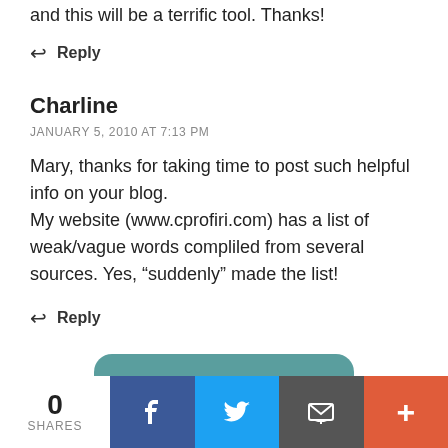and this will be a terrific tool. Thanks!
↩ Reply
Charline
JANUARY 5, 2010 AT 7:13 PM
Mary, thanks for taking time to post such helpful info on your blog.
My website (www.cprofiri.com) has a list of weak/vague words compliled from several sources. Yes, “suddenly” made the list!
↩ Reply
0 SHARES | Facebook | Twitter | Email | More